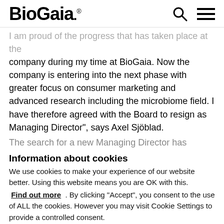BioGaia®
I am proud of the progress that has taken place at the company during my time at BioGaia. Now the company is entering into the next phase with greater focus on consumer marketing and advanced research including the microbiome field. I have therefore agreed with the Board to resign as Managing Director", says Axel Sjöblad.
The search for a new Managing Director has
Information about cookies
We use cookies to make your experience of our website better. Using this website means you are OK with this.
Find out more . By clicking “Accept”, you consent to the use of ALL the cookies. However you may visit Cookie Settings to provide a controlled consent.